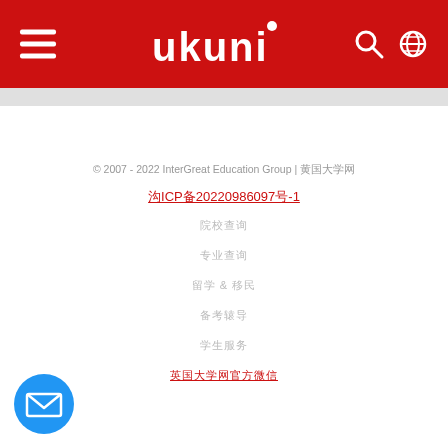[Figure (logo): UKUNI logo - white text on red header bar with hamburger menu, search icon, and globe icon]
© 2007 - 2022 InterGreat Education Group | 英国大学网
沪ICP备20220986097号-1
院校查询
专业查询
留学 & 移民
备考辅导
学生服务
英国大学网官方微信